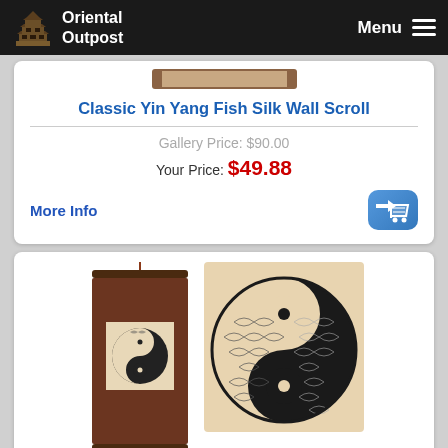Oriental Outpost  Menu
[Figure (illustration): Partial view of Classic Yin Yang Fish Silk Wall Scroll product image at top of page]
Classic Yin Yang Fish Silk Wall Scroll
Gallery Price: $90.00
Your Price: $49.88
More Info
[Figure (illustration): Yin Yang Fish Print Chinese Scroll product image showing a wall scroll with a yin-yang fish design and a close-up detail of the fish pattern]
Yin Yang Fish Print Chinese Scroll